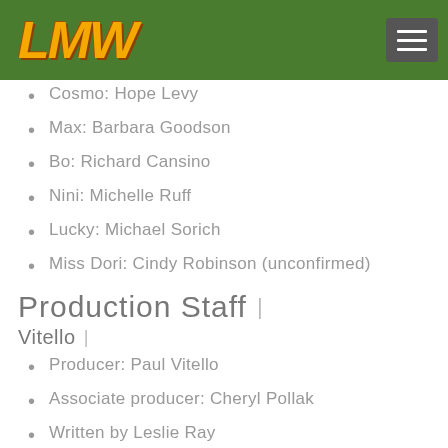[Figure (logo): LMW logo in gold/orange metallic italic bold font on green header bar, with hamburger menu button on the right]
Cosmo: Hope Levy
Max: Barbara Goodson
Bo: Richard Cansino
Nini: Michelle Ruff
Lucky: Michael Sorich
Miss Dori: Cindy Robinson (unconfirmed)
Production Staff
Vitello
Producer: Paul Vitello
Associate producer: Cheryl Pollak
Written by Leslie Ray
Dialogue Director: Paul Vitello
Dialogue Editor: Larry Ellis
Dialogue Recording: R.D. Floyd